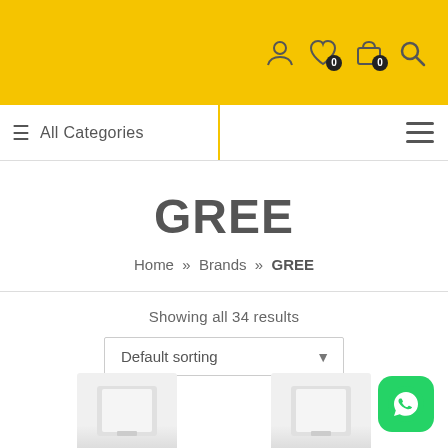Header bar with user, wishlist, cart, and search icons
≡ All Categories
GREE
Home » Brands » GREE
Showing all 34 results
Default sorting
[Figure (screenshot): WhatsApp floating button at bottom right]
[Figure (photo): Two product thumbnail images partially visible at the bottom of the page]